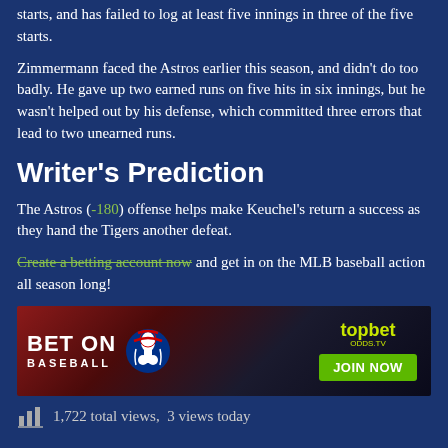starts, and has failed to log at least five innings in three of the five starts.
Zimmermann faced the Astros earlier this season, and didn't do too badly. He gave up two earned runs on five hits in six innings, but he wasn't helped out by his defense, which committed three errors that lead to two unearned runs.
Writer's Prediction
The Astros (-180) offense helps make Keuchel's return a success as they hand the Tigers another defeat.
Create a betting account now and get in on the MLB baseball action all season long!
[Figure (other): topbet.eu advertisement banner: BET ON BASEBALL with MLB logo and JOIN NOW button]
1,722 total views,  3 views today